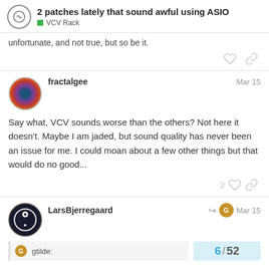2 patches lately that sound awful using ASIO — VCV Rack
unfortunate, and not true, but so be it.
fractalgee — Mar 15
Say what, VCV sounds worse than the others? Not here it doesn't. Maybe I am jaded, but sound quality has never been an issue for me. I could moan about a few other things but that would do no good...
LarsBjerregaard — Mar 15
gtilde: